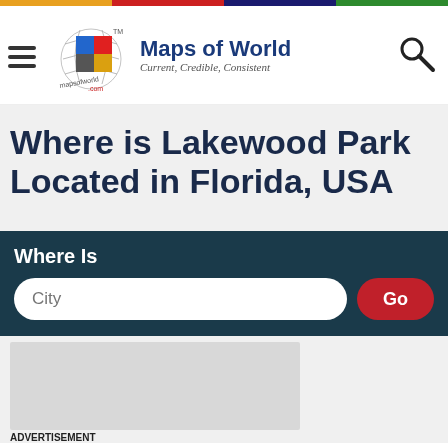[Figure (logo): Maps of World logo with colorful grid globe icon and text 'Maps of World, Current, Credible, Consistent']
Where is Lakewood Park Located in Florida, USA
Where Is
[Figure (screenshot): City search input field with placeholder 'City' and a red 'Go' button]
[Figure (other): Gray advertisement placeholder box]
ADVERTISEMENT